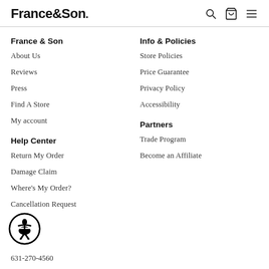France&Son
France & Son
About Us
Reviews
Press
Find A Store
My account
Help Center
Return My Order
Damage Claim
Where's My Order?
Cancellation Request
Info & Policies
Store Policies
Price Guarantee
Privacy Policy
Accessibility
Partners
Trade Program
Become an Affiliate
631-270-4560